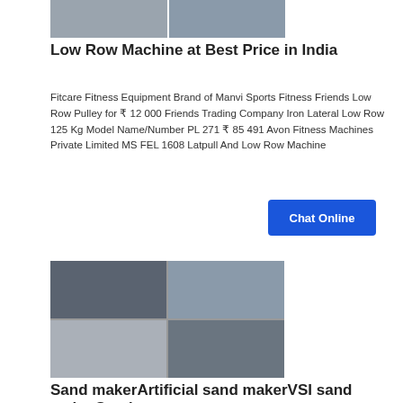[Figure (photo): Two photos of low row machines side by side at the top of the page]
Low Row Machine at Best Price in India
Fitcare Fitness Equipment Brand of Manvi Sports Fitness Friends Low Row Pulley for ₹ 12 000 Friends Trading Company Iron Lateral Low Row 125 Kg Model Name/Number PL 271 ₹ 85 491 Avon Fitness Machines Private Limited MS FEL 1608 Latpull And Low Row Machine
[Figure (other): Blue Chat Online button]
[Figure (photo): Four photos of sand maker / VSI sand maker industrial equipment arranged in a 2x2 grid]
Sand makerArtificial sand makerVSI sand makerSand